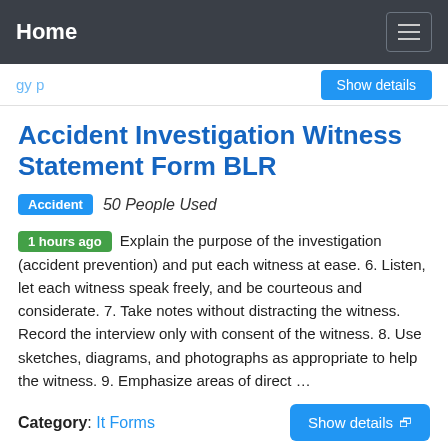Home
Show details
Accident Investigation Witness Statement Form BLR
Accident  50 People Used
1 hours ago Explain the purpose of the investigation (accident prevention) and put each witness at ease. 6. Listen, let each witness speak freely, and be courteous and considerate. 7. Take notes without distracting the witness. Record the interview only with consent of the witness. 8. Use sketches, diagrams, and photographs as appropriate to help the witness. 9. Emphasize areas of direct …
Category: It Forms
Show details